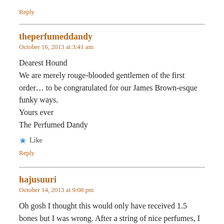Reply
theperfumeddandy
October 16, 2013 at 3:41 am
Dearest Hound
We are merely rouge-blooded gentlemen of the first order… to be congratulated for our James Brown-esque funky ways.
Yours ever
The Perfumed Dandy
★ Like
Reply
hajusuuri
October 14, 2013 at 9:08 pm
Oh gosh I thought this would only have received 1.5 bones but I was wrong. After a string of nice perfumes, I thought it was about time you got a lemon (pun intended). No